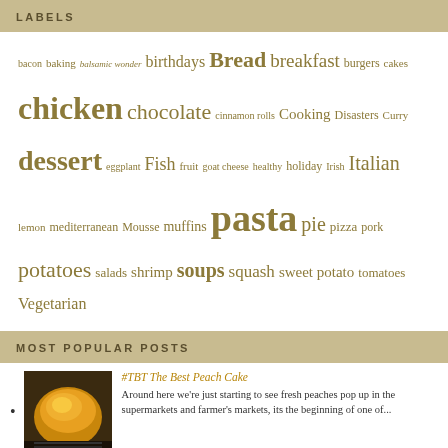LABELS
bacon baking balsamic wonder birthdays Bread breakfast burgers cakes chicken chocolate cinnamon rolls Cooking Disasters Curry dessert eggplant Fish fruit goat cheese healthy holiday Irish Italian lemon mediterranean Mousse muffins pasta pie pizza pork potatoes salads shrimp soups squash sweet potato tomatoes Vegetarian
MOST POPULAR POSTS
[Figure (photo): Photo of a peach cake, golden brown, in a baking pan]
#TBT The Best Peach Cake
Around here we're just starting to see fresh peaches pop up in the supermarkets and farmer's markets, its the beginning of one of...
[Figure (photo): Photo of Pan-Roasted Lemon Chicken in a creamy sauce]
Dressing Up Your Weeknight Chicken
Chicken is a go-to weeknight meal for many families, but it can start to get a little boring. I don't know about you, but I can ...